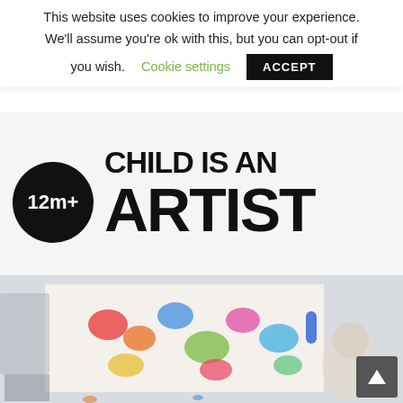This website uses cookies to improve your experience. We'll assume you're ok with this, but you can opt-out if you wish.
Cookie settings
ACCEPT
[Figure (logo): Child is an Artist logo: black circle with '12m+' age badge and bold black text reading 'CHILD IS AN ARTIST']
[Figure (photo): Young child painting with colorful finger paints on white paper/canvas, colorful handprints and paint marks visible, indoor setting]